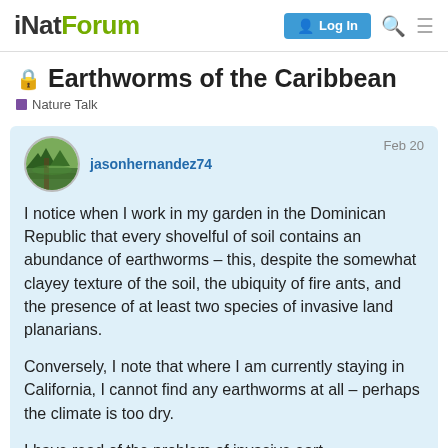iNatForum | Log In
Earthworms of the Caribbean
Nature Talk
jasonhernandez74  Feb 20
I notice when I work in my garden in the Dominican Republic that every shovelful of soil contains an abundance of earthworms – this, despite the somewhat clayey texture of the soil, the ubiquity of fire ants, and the presence of at least two species of invasive land planarians.

Conversely, I note that where I am currently staying in California, I cannot find any earthworms at all – perhaps the climate is too dry.

I have read of the problem of invasive eart... were under ice during the last glaciation, a...
1 / 5